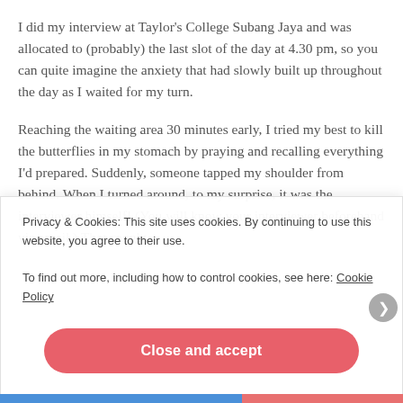I did my interview at Taylor's College Subang Jaya and was allocated to (probably) the last slot of the day at 4.30 pm, so you can quite imagine the anxiety that had slowly built up throughout the day as I waited for my turn.
Reaching the waiting area 30 minutes early, I tried my best to kill the butterflies in my stomach by praying and recalling everything I'd prepared. Suddenly, someone tapped my shoulder from behind. When I turned around, to my surprise, it was the interviewer himself! (You will know your interviewer beforehand via email.) That caught
Privacy & Cookies: This site uses cookies. By continuing to use this website, you agree to their use.
To find out more, including how to control cookies, see here: Cookie Policy
Close and accept